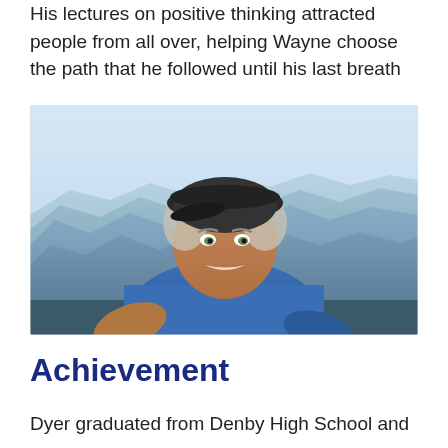His lectures on positive thinking attracted people from all over, helping Wayne choose the path that he followed until his last breath
[Figure (photo): Portrait of an older smiling man wearing a dark flat cap and blue t-shirt, seated in front of a scenic mountain landscape with layered blue-green hills and a light sky.]
Achievement
Dyer graduated from Denby High School and